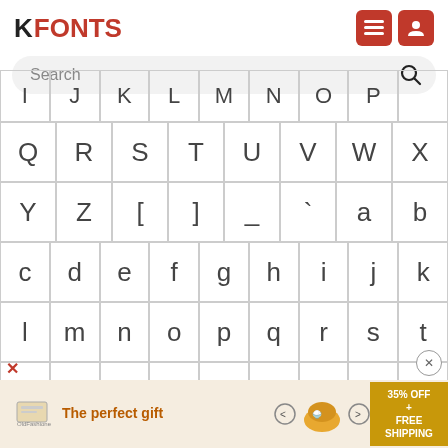[Figure (logo): FFONTS logo in red and black, top left]
[Figure (screenshot): Red menu hamburger icon and red user/profile icon buttons, top right]
Search
[Figure (screenshot): Character grid showing letters I J K L M N O P (partial top row), Q R S T U V W X, Y Z [ ] _ ` a b, c d e f g h i j k, l m n o p q r s t, and partial bottom row; each character in a bordered cell]
[Figure (screenshot): Advertisement banner: 'The perfect gift' with food imagery and '35% OFF + FREE SHIPPING' offer in gold/tan colors]